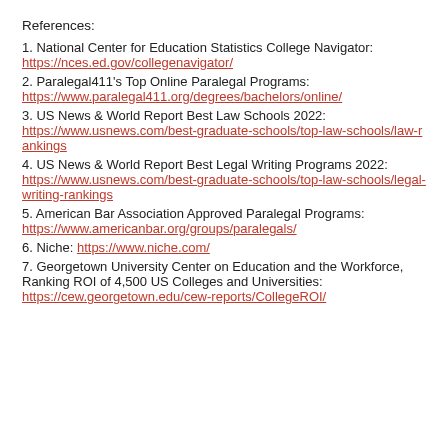References:
1. National Center for Education Statistics College Navigator: https://nces.ed.gov/collegenavigator/
2. Paralegal411's Top Online Paralegal Programs: https://www.paralegal411.org/degrees/bachelors/online/
3. US News & World Report Best Law Schools 2022: https://www.usnews.com/best-graduate-schools/top-law-schools/law-rankings
4. US News & World Report Best Legal Writing Programs 2022: https://www.usnews.com/best-graduate-schools/top-law-schools/legal-writing-rankings
5. American Bar Association Approved Paralegal Programs: https://www.americanbar.org/groups/paralegals/
6. Niche: https://www.niche.com/
7. Georgetown University Center on Education and the Workforce, Ranking ROI of 4,500 US Colleges and Universities: https://cew.georgetown.edu/cew-reports/CollegeROI/